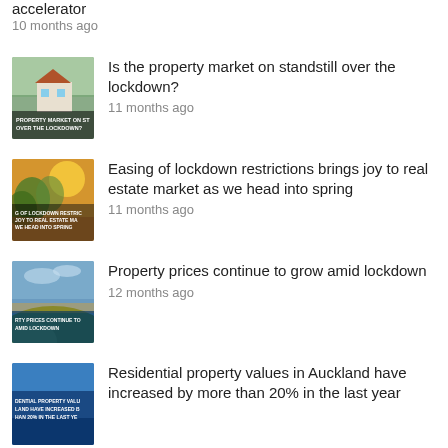accelerator
10 months ago
[Figure (photo): Thumbnail image for article about property market on standstill over the lockdown, showing a house with text overlay]
Is the property market on standstill over the lockdown?
11 months ago
[Figure (photo): Thumbnail image for article about easing of lockdown restrictions, showing trees with sunlight and text overlay]
Easing of lockdown restrictions brings joy to real estate market as we head into spring
11 months ago
[Figure (photo): Thumbnail image for article about property prices continuing to grow amid lockdown, showing landscape with text overlay]
Property prices continue to grow amid lockdown
12 months ago
[Figure (photo): Thumbnail image for article about residential property values in Auckland, showing blue background with text overlay]
Residential property values in Auckland have increased by more than 20% in the last year